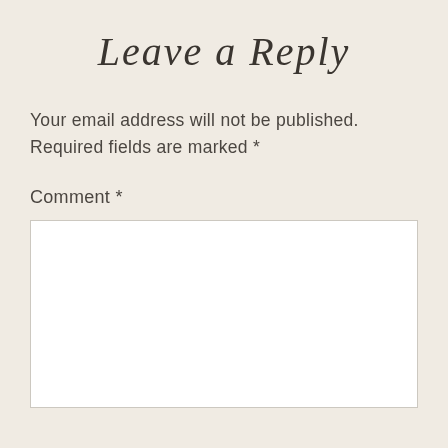Leave a Reply
Your email address will not be published. Required fields are marked *
Comment *
[Figure (other): Empty comment text area input box with white background and light border]